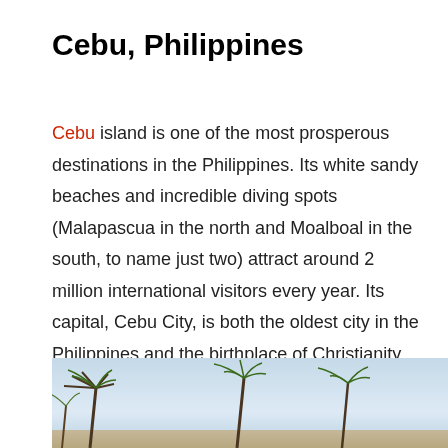Cebu, Philippines
Cebu island is one of the most prosperous destinations in the Philippines. Its white sandy beaches and incredible diving spots (Malapascua in the north and Moalboal in the south, to name just two) attract around 2 million international visitors every year. Its capital, Cebu City, is both the oldest city in the Philippines and the birthplace of Christianity in the Far East. Combined with a thriving shopping culture, plenty of bars and eateries, and a dynamic live music scene, Cebu City has something for everyone.
[Figure (photo): Coastal scene with palm tree silhouettes against a blue sky, beach panorama in Cebu, Philippines]